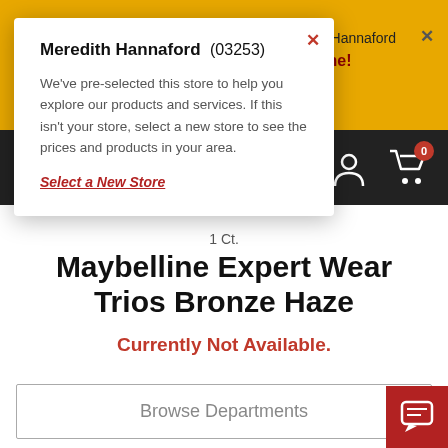l and Hannaford Online!
[Figure (screenshot): Modal popup with store selection info for Meredith Hannaford (03253)]
Meredith Hannaford (03253)
We've pre-selected this store to help you explore our products and services. If this isn't your store, select a new store to see the prices and products in your area.
Select a New Store
1 Ct.
Maybelline Expert Wear Trios Bronze Haze
Currently Not Available.
Browse Departments